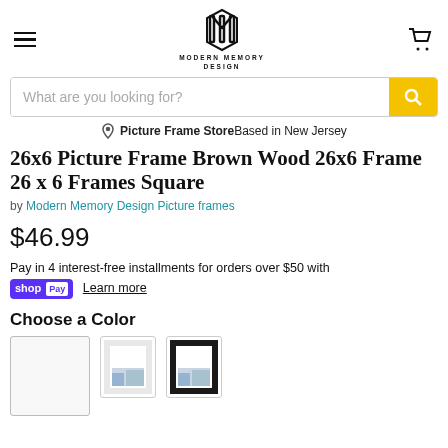Modern Memory Design - navigation header with logo
What are you looking for?
Picture Frame Store Based in New Jersey
26x6 Picture Frame Brown Wood 26x6 Frame 26 x 6 Frames Square
by Modern Memory Design Picture frames
$46.99
Pay in 4 interest-free installments for orders over $50 with shop Pay Learn more
Choose a Color
[Figure (photo): Three picture frame color swatches: white/empty swatch, white frame with photo, black frame with photo]